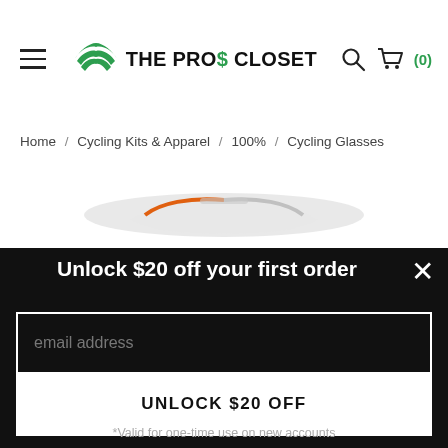THE PROS CLOSET — Navigation header with hamburger menu, logo, search and cart icons (0 items)
Home / Cycling Kits & Apparel / 100% / Cycling Glasses
[Figure (screenshot): Partial product image showing cycling glasses with orange and gray colors]
Unlock $20 off your first order
email address (input field)
UNLOCK $20 OFF (button)
*Valid for one-time use on new accounts